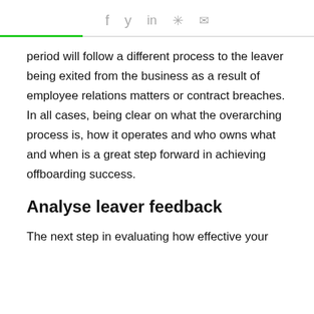f  y  in  #  ✉
period will follow a different process to the leaver being exited from the business as a result of employee relations matters or contract breaches. In all cases, being clear on what the overarching process is, how it operates and who owns what and when is a great step forward in achieving offboarding success.
Analyse leaver feedback
The next step in evaluating how effective your